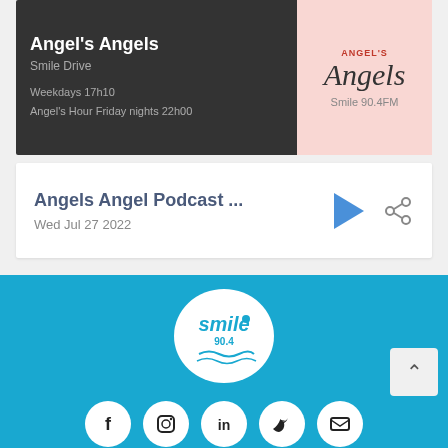Angel's Angels
Smile Drive
Weekdays 17h10
Angel's Hour Friday nights 22h00
[Figure (logo): Angel's Angels logo with script text on pink background, Smile 90.4FM]
Angels Angel Podcast ...
Wed Jul 27 2022
[Figure (logo): Smile 90.4FM circular white logo on blue background]
[Figure (infographic): Social media icons row: Facebook, Instagram, LinkedIn, Twitter, Email]
© Smile 90.4FM • Hosted and supported by immedia
Terms of Use · General Contest Guidelines · Archive · Advertise with us · Contact Us · Privacy Policy